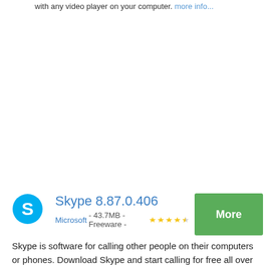with any video player on your computer. more info...
Skype 8.87.0.406
Microsoft - 43.7MB - Freeware - ★★★★☆
Skype is software for calling other people on their computers or phones. Download Skype and start calling for free all over the world. The calls have excellent sound quality and are highly secure with end-to-end encryption. more info...